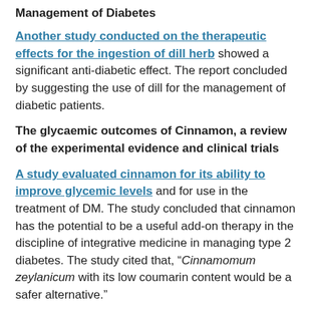Management of Diabetes
Another study conducted on the therapeutic effects for the ingestion of dill herb showed a significant anti-diabetic effect. The report concluded by suggesting the use of dill for the management of diabetic patients.
The glycaemic outcomes of Cinnamon, a review of the experimental evidence and clinical trials
A study evaluated cinnamon for its ability to improve glycemic levels and for use in the treatment of DM. The study concluded that cinnamon has the potential to be a useful add-on therapy in the discipline of integrative medicine in managing type 2 diabetes. The study cited that, “Cinnamomum zeylanicum with its low coumarin content would be a safer alternative.”
Another study evaluated cinnamon for